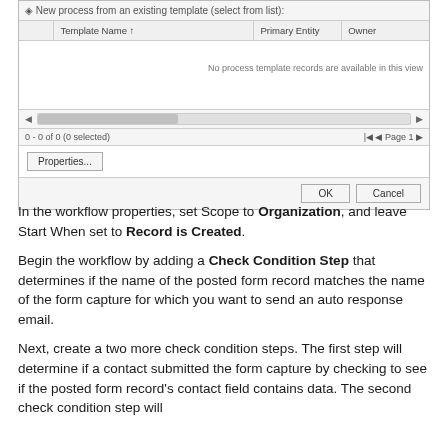[Figure (screenshot): A dialog box showing a process template selection table with columns Template Name, Primary Entity, and Owner. The table body shows 'No process template records are available in this view'. Below the table is a scrollbar, pagination showing '0 - 0 of 0 (0 selected)' and 'Page 1', a Properties button, and OK/Cancel buttons at the bottom.]
In the workflow properties, set Scope to Organization, and leave Start When set to Record is Created.
Begin the workflow by adding a Check Condition Step that determines if the name of the posted form record matches the name of the form capture for which you want to send an auto response email.
Next, create a two more check condition steps. The first step will determine if a contact submitted the form capture by checking to see if the posted form record's contact field contains data. The second check condition step will